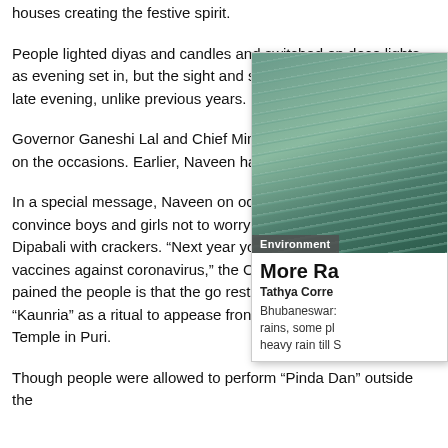houses creating the festive spirit.
People lighted diyas and candles and switched on deco lights as evening set in, but the sight and sound of firew missing till late evening, unlike previous years.
Governor Ganeshi Lal and Chief Minister Naveen Patna people on the occasions. Earlier, Naveen had people to using crackers.
In a special message, Naveen on occasion of the Child tried to convince boys and girls not to worry for not beir celebrate the Dipabali with crackers. “Next year you wil after availability of vaccines against coronavirus,” the C said. What has actually pained the people is that the go restrictions on lighting “Kaunria” as a ritual to appease front of Shree Jagannath Temple in Puri.
Though people were allowed to perform “Pinda Dan” outside the
[Figure (photo): A popup/overlay card showing a rainy scene with dark green tones, labeled 'Environment', with title 'More Ra', byline 'Tathya Corre', and description starting 'Bhubaneswar: rains, some pl heavy rain till']